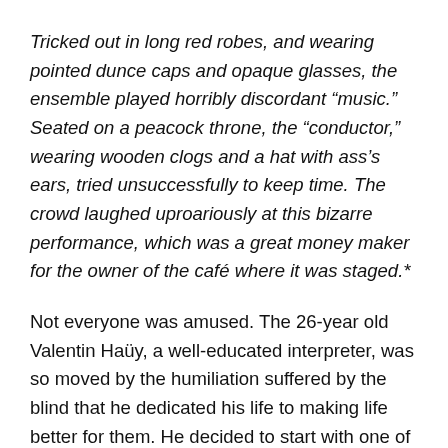Tricked out in long red robes, and wearing pointed dunce caps and opaque glasses, the ensemble played horribly discordant “music.” Seated on a peacock throne, the “conductor,” wearing wooden clogs and a hat with ass’s ears, tried unsuccessfully to keep time. The crowd laughed uproariously at this bizarre performance, which was a great money maker for the owner of the café where it was staged.*
Not everyone was amused. The 26-year old Valentin Haüy, a well-educated interpreter, was so moved by the humiliation suffered by the blind that he dedicated his life to making life better for them. He decided to start with one of their strengths, namely their ability to distinguish shapes through touch. Through that they could learn to read. His belief that the blind were competent and capable was